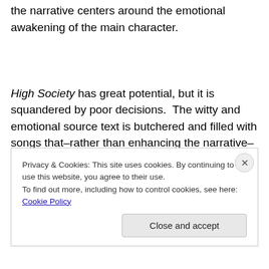the narrative centers around the emotional awakening of the main character.
High Society has great potential, but it is squandered by poor decisions.  The witty and emotional source text is butchered and filled with songs that–rather than enhancing the narrative–seem shoehorned in, while the actors play cardboard versions of their predecessors.  For all its
Privacy & Cookies: This site uses cookies. By continuing to use this website, you agree to their use.
To find out more, including how to control cookies, see here: Cookie Policy
Close and accept